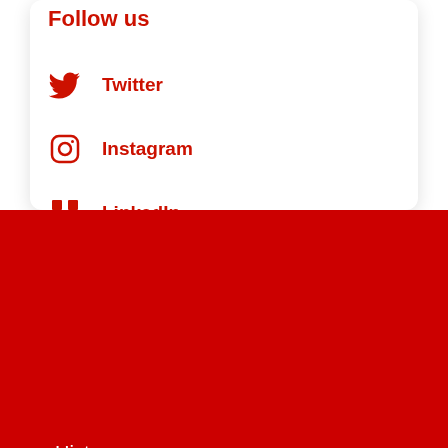Follow us
Twitter
Instagram
LinkedIn
History
Lifestyle
Mysteries
Tech